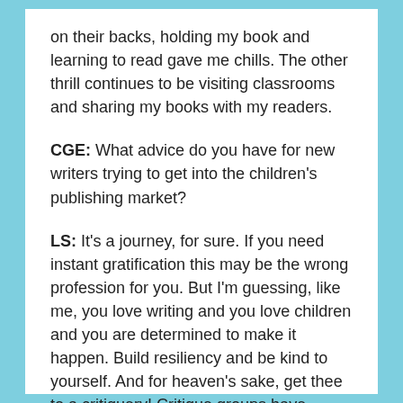on their backs, holding my book and learning to read gave me chills. The other thrill continues to be visiting classrooms and sharing my books with my readers.
CGE: What advice do you have for new writers trying to get into the children's publishing market?
LS: It's a journey, for sure. If you need instant gratification this may be the wrong profession for you. But I'm guessing, like me, you love writing and you love children and you are determined to make it happen. Build resiliency and be kind to yourself. And for heaven's sake, get thee to a critiquery! Critique groups have